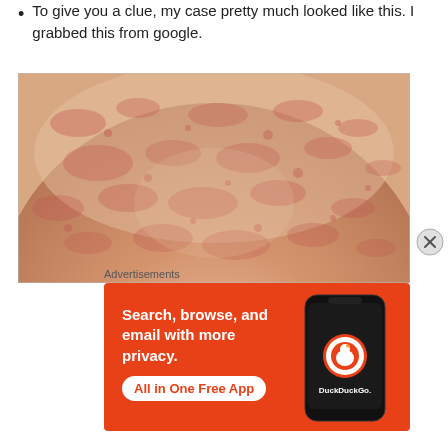To give you a clue, my case pretty much looked like this. I grabbed this from google.
[Figure (photo): A close-up photograph of a person's back/shoulder area showing a red blotchy skin rash, described as what the author's condition looked like, sourced from Google.]
Advertisements
[Figure (screenshot): DuckDuckGo advertisement banner with orange background. Text reads: 'Search, browse, and email with more privacy. All in One Free App' with a phone graphic and DuckDuckGo logo.]